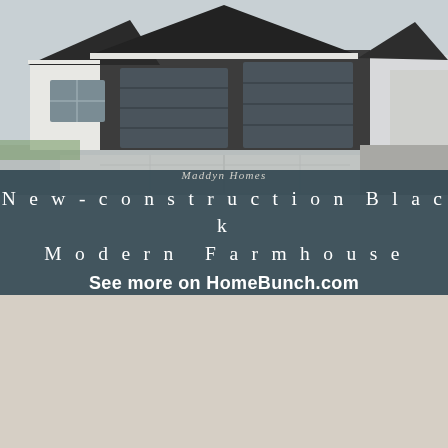[Figure (photo): Exterior of a new-construction black modern farmhouse with white brick, dark gray garage doors, and a wide concrete driveway]
Maddyn Homes
New-construction Black Modern Farmhouse
See more on HomeBunch.com
[Figure (photo): Interior kitchen of a modern farmhouse with white cabinets, wood island with bar stools, black pendant lights, and a barn door]